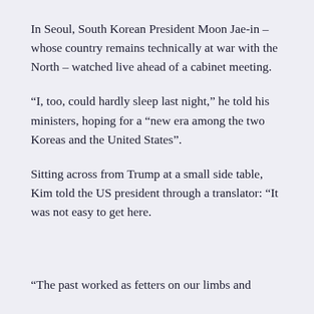In Seoul, South Korean President Moon Jae-in – whose country remains technically at war with the North – watched live ahead of a cabinet meeting.
“I, too, could hardly sleep last night,” he told his ministers, hoping for a “new era among the two Koreas and the United States”.
Sitting across from Trump at a small side table, Kim told the US president through a translator: “It was not easy to get here.
“The past worked as fetters on our limbs and